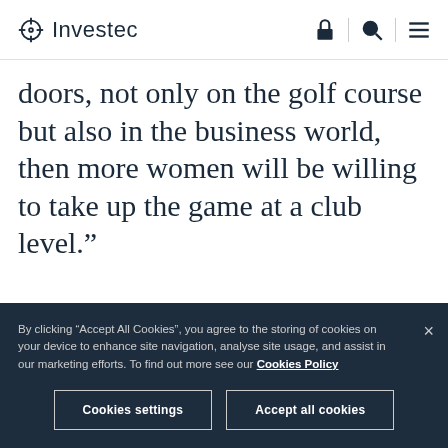Investec
doors, not only on the golf course but also in the business world, then more women will be willing to take up the game at a club level.”
By clicking “Accept All Cookies”, you agree to the storing of cookies on your device to enhance site navigation, analyse site usage, and assist in our marketing efforts. To find out more see our Cookies Policy
Cookies settings
Accept all cookies